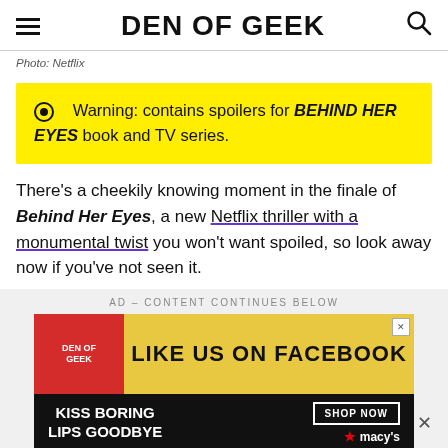DEN OF GEEK
Photo: Netflix
Warning: contains spoilers for BEHIND HER EYES book and TV series.
There’s a cheekily knowing moment in the finale of Behind Her Eyes, a new Netflix thriller with a monumental twist you won’t want spoiled, so look away now if you’ve not seen it.
AD – CONTENT CONTINUES BELOW
[Figure (other): Den of Geek Facebook advertisement banner and Macy's advertisement banner]